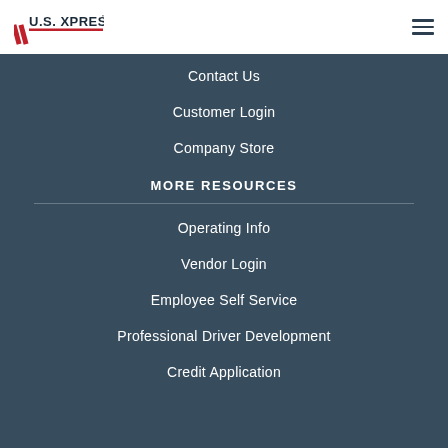[Figure (logo): U.S. Xpress logo with red diagonal lines and bold text]
Contact Us
Customer Login
Company Store
MORE RESOURCES
Operating Info
Vendor Login
Employee Self Service
Professional Driver Development
Credit Application